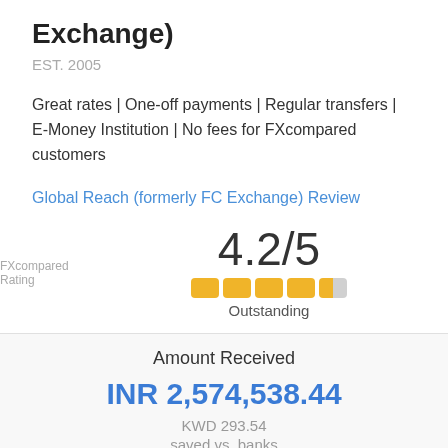Exchange)
EST. 2005
Great rates | One-off payments | Regular transfers | E-Money Institution | No fees for FXcompared customers
Global Reach (formerly FC Exchange) Review
FXcompared Rating
4.2/5 Outstanding
Amount Received
INR 2,574,538.44
KWD 293.54
saved vs. banks
START YOUR